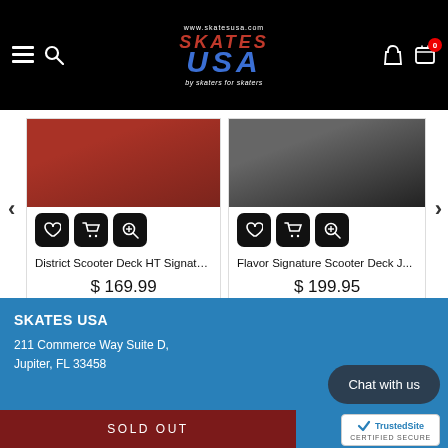www.skatesusa.com — Skates USA by skaters for skaters
[Figure (screenshot): Product card: District Scooter Deck HT Signatu... with action buttons and price $169.99]
[Figure (screenshot): Product card: Flavor Signature Scooter Deck J... with action buttons and price $199.95]
RECENTLY VIEWED PRODUCTS
SKATES USA
211 Commerce Way Suite D,
Jupiter, FL 33458
Chat with us
SOLD OUT
[Figure (logo): TrustedSite CERTIFIED SECURE badge]